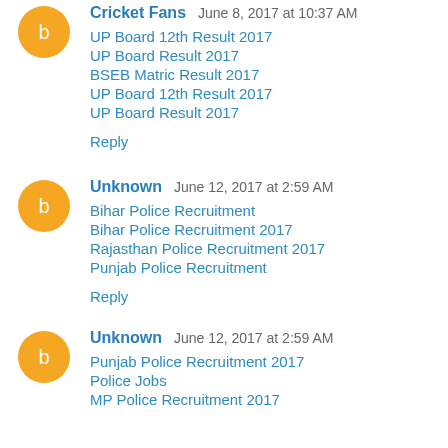Cricket Fans  June 8, 2017 at 10:37 AM
UP Board 12th Result 2017
UP Board Result 2017
BSEB Matric Result 2017
UP Board 12th Result 2017
UP Board Result 2017
Reply
Unknown  June 12, 2017 at 2:59 AM
Bihar Police Recruitment
Bihar Police Recruitment 2017
Rajasthan Police Recruitment 2017
Punjab Police Recruitment
Reply
Unknown  June 12, 2017 at 2:59 AM
Punjab Police Recruitment 2017
Police Jobs
MP Police Recruitment 2017